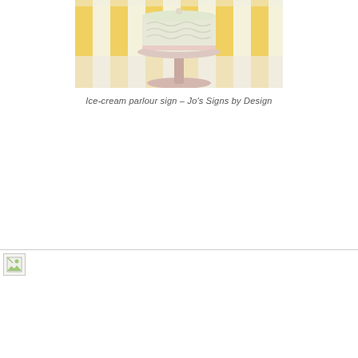[Figure (photo): A white layered cake on a pink cake stand, displayed in front of yellow and white striped backdrop]
Ice-cream parlour sign – Jo's Signs by Design
[Figure (photo): Broken/missing image placeholder with small icon]